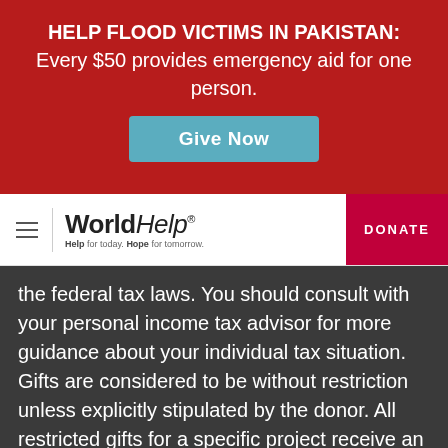HELP FLOOD VICTIMS IN PAKISTAN: Every $50 provides emergency aid for one person.
[Figure (other): Give Now button – teal/blue rounded rectangle button]
[Figure (logo): World Help logo with tagline 'Help for today. Hope for tomorrow.' and hamburger menu icon, with DONATE button on right]
the federal tax laws. You should consult with your personal income tax advisor for more guidance about your individual tax situation. Gifts are considered to be without restriction unless explicitly stipulated by the donor. All restricted gifts for a specific project receive an administrative assessment, which is used to offset administrative and fundraising costs.